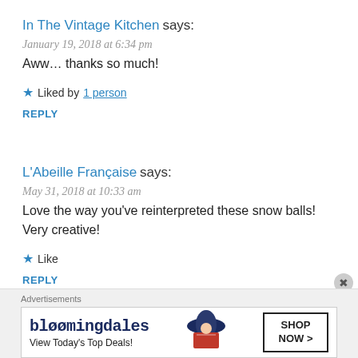In The Vintage Kitchen says:
January 19, 2018 at 6:34 pm
Aww… thanks so much!
★ Liked by 1 person
REPLY
L'Abeille Française says:
May 31, 2018 at 10:33 am
Love the way you've reinterpreted these snow balls! Very creative!
★ Like
REPLY
Advertisements
[Figure (other): Bloomingdale's advertisement banner: 'bloomingdales / View Today's Top Deals! / SHOP NOW >' with image of woman in large hat]